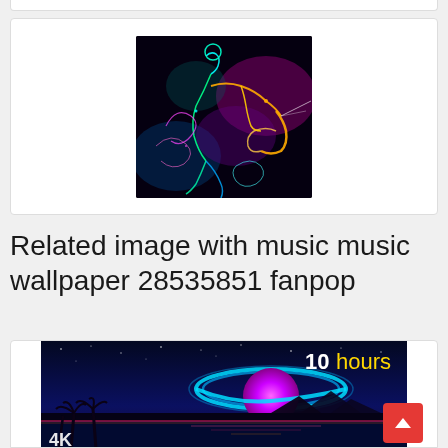[Figure (photo): Neon glowing illustration of a jazz musician playing saxophone, with colorful neon light trails on a dark background]
Related image with music music wallpaper 28535851 fanpop
[Figure (photo): Space/synthwave themed landscape showing a neon ringed planet over a tropical beach at night with text '10 hours' and a 4K logo, in blue and pink tones]